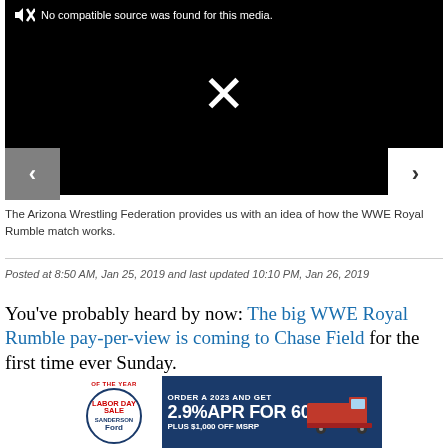[Figure (screenshot): Video player with black background showing 'No compatible source was found for this media.' message, an X mark in the center, left navigation arrow on gray background, and right navigation arrow on white background.]
The Arizona Wrestling Federation provides us with an idea of how the WWE Royal Rumble match works.
Posted at 8:50 AM, Jan 25, 2019 and last updated 10:10 PM, Jan 26, 2019
You've probably heard by now: The big WWE Royal Rumble pay-per-view is coming to Chase Field for the first time ever Sunday.
[Figure (other): Advertisement banner for Sanderson Ford Labor Day Sale: ORDER A 2023 AND GET 2.9% APR FOR 60MO PLUS $1,000 OFF MSRP]